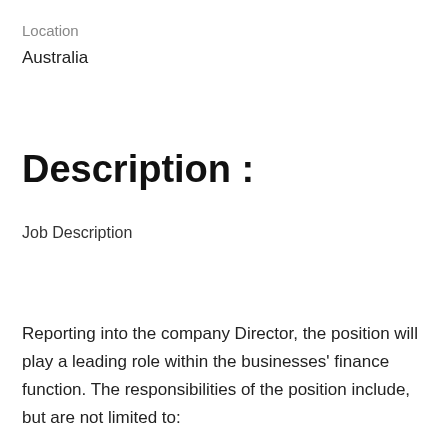Location
Australia
Description :
Job Description
Reporting into the company Director, the position will play a leading role within the businesses' finance function. The responsibilities of the position include, but are not limited to: